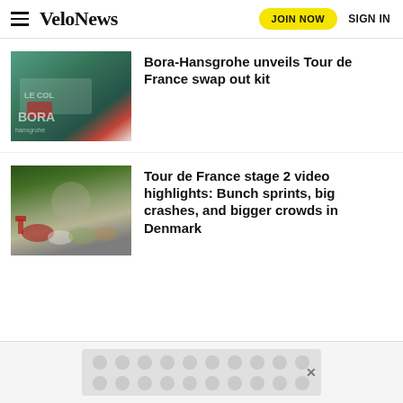VeloNews — JOIN NOW   SIGN IN
[Figure (photo): Cyclist wearing Bora-Hansgrohe team kit with Le Col and Specialized branding]
Bora-Hansgrohe unveils Tour de France swap out kit
[Figure (photo): Large crowd watching Tour de France stage 2 in Denmark, Danish flags visible]
Tour de France stage 2 video highlights: Bunch sprints, big crashes, and bigger crowds in Denmark
[Figure (other): Advertisement banner at bottom of page with decorative circular pattern]